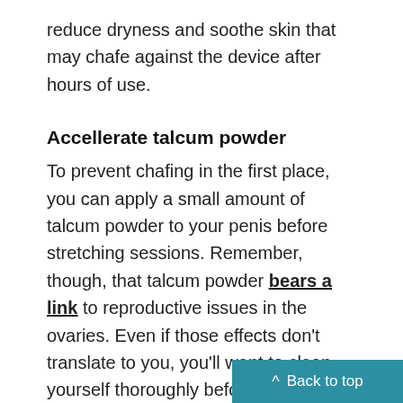reduce dryness and soothe skin that may chafe against the device after hours of use.
Accellerate talcum powder
To prevent chafing in the first place, you can apply a small amount of talcum powder to your penis before stretching sessions. Remember, though, that talcum powder bears a link to reproductive issues in the ovaries. Even if those effects don't translate to you, you'll want to clean yourself thoroughly before intercourse.
Accellerate Boost